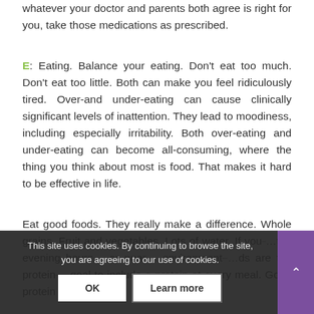whatever your doctor and parents both agree is right for you, take those medications as prescribed.
E: Eating. Balance your eating. Don't eat too much. Don't eat too little. Both can make you feel ridiculously tired. Over-and under-eating can cause clinically significant levels of inattention. They lead to moodiness, including especially irritability. Both over-eating and under-eating can become all-consuming, where the thing you think about most is food. That makes it hard to be effective in life.
Eat good foods. They really make a difference. Whole grains. Fruit and vegetables. Lots of water. If you…the evening hours…or near…environment…ds are the protein…goal to include a protein at every meal. Good protein sources are
This site uses cookies. By continuing to browse the site, you are agreeing to our use of cookies.